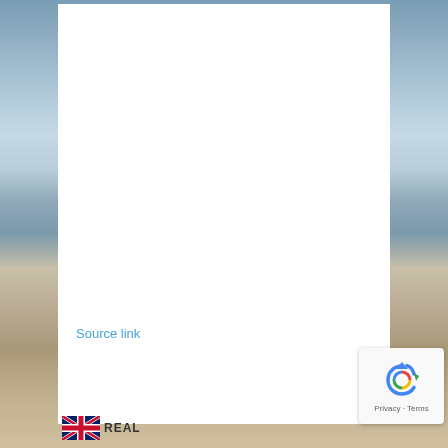[Figure (photo): Beach and sky background photo with clouds and sandy shore]
Source link
[Figure (logo): REAL logo with UK flag icon at bottom left]
[Figure (other): Google reCAPTCHA badge with refresh icon, Privacy and Terms links]